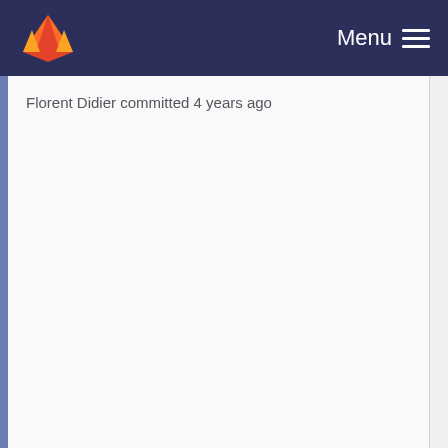Menu
Florent Didier committed 4 years ago